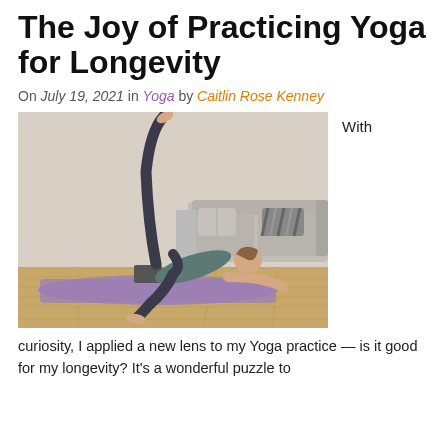The Joy of Practicing Yoga for Longevity
On July 19, 2021 in Yoga by Caitlin Rose Kenney
[Figure (photo): Woman practicing yoga on a purple mat in a living room, performing a leg-raise pose with one leg extended upward, supported by a yoga block, with a couch in the background.]
With
curiosity, I applied a new lens to my Yoga practice — is it good for my longevity? It's a wonderful puzzle to